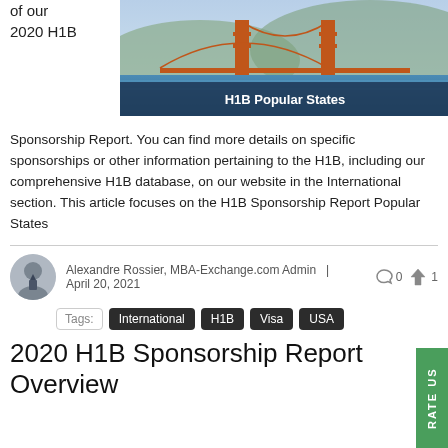of our 2020 H1B
[Figure (photo): Photo of Golden Gate Bridge with dark banner overlay reading 'H1B Popular States']
Sponsorship Report. You can find more details on specific sponsorships or other information pertaining to the H1B, including our comprehensive H1B database, on our website in the International section. This article focuses on the H1B Sponsorship Report Popular States
Alexandre Rossier, MBA-Exchange.com Admin  |  April 20, 2021
Tags: International  H1B  Visa  USA
2020 H1B Sponsorship Report Overview